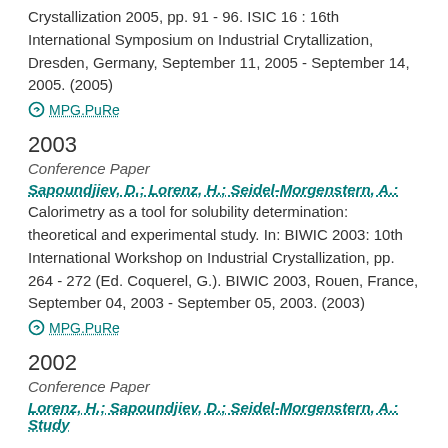Crystallization 2005, pp. 91 - 96. ISIC 16 : 16th International Symposium on Industrial Crytallization, Dresden, Germany, September 11, 2005 - September 14, 2005. (2005)
MPG.PuRe
2003
Conference Paper
Sapoundjiev, D.; Lorenz, H.; Seidel-Morgenstern, A.:
Calorimetry as a tool for solubility determination: theoretical and experimental study. In: BIWIC 2003: 10th International Workshop on Industrial Crystallization, pp. 264 - 272 (Ed. Coquerel, G.). BIWIC 2003, Rouen, France, September 04, 2003 - September 05, 2003. (2003)
MPG.PuRe
2002
Conference Paper
Lorenz, H.; Sapoundjiev, D.; Seidel-Morgenstern, A.: Study